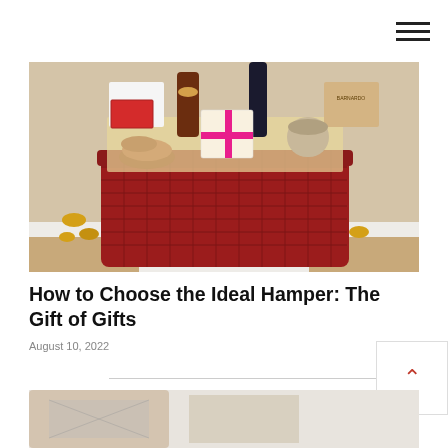[Figure (photo): A red woven hamper basket filled with various gift items including fudge, cookies, syrups, chocolates, a bottle of wine, various packaged goods, and decorative items, displayed on a white fluffy surface.]
How to Choose the Ideal Hamper: The Gift of Gifts
August 10, 2022
[Figure (photo): Partial view of another photograph at the bottom of the page, partially cropped.]